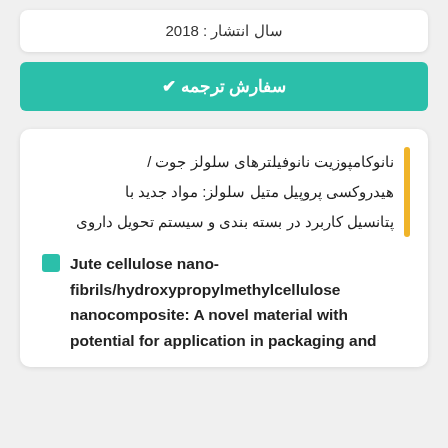سال انتشار : 2018
✔ سفارش ترجمه
نانوکامپوزیت نانوفیلترهای سلولز جوت / هیدروکسی پروپیل متیل سلولز: مواد جدید با پتانسیل کاربرد در بسته بندی و سیستم تحویل داروی
Jute cellulose nano-fibrils/hydroxypropylmethylcellulose nanocomposite: A novel material with potential for application in packaging and